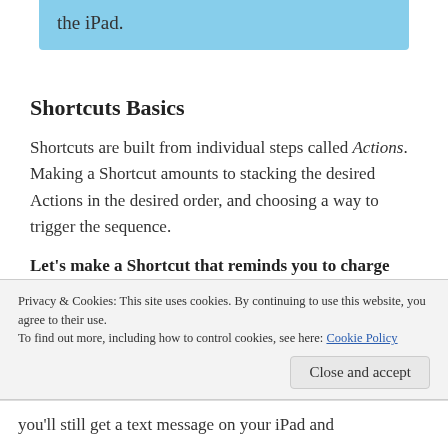the iPad.
Shortcuts Basics
Shortcuts are built from individual steps called Actions. Making a Shortcut amounts to stacking the desired Actions in the desired order, and choosing a way to trigger the sequence.
Let's make a Shortcut that reminds you to charge your iPhone if the battery is below
Privacy & Cookies: This site uses cookies. By continuing to use this website, you agree to their use.
To find out more, including how to control cookies, see here: Cookie Policy
you'll still get a text message on your iPad and